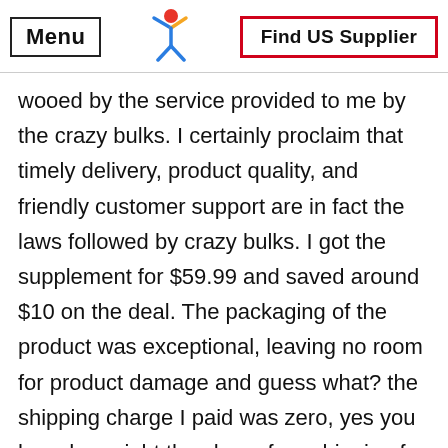Menu | [logo] | Find US Supplier
wooed by the service provided to me by the crazy bulks. I certainly proclaim that timely delivery, product quality, and friendly customer support are in fact the laws followed by crazy bulks. I got the supplement for $59.99 and saved around $10 on the deal. The packaging of the product was exceptional, leaving no room for product damage and guess what? the shipping charge I paid was zero, yes you heard me right they have free shipping for the US. The supplements sold by crazy bulks are 100% legal and safe to use which